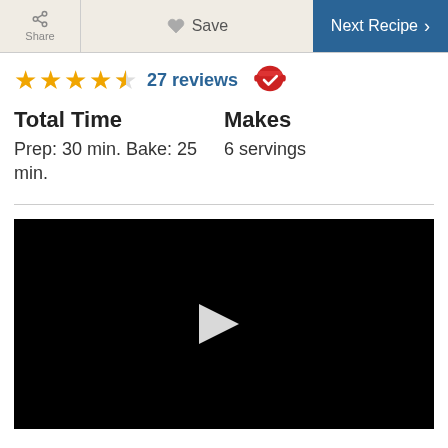Share | Save | Next Recipe >
27 reviews
Total Time
Prep: 30 min. Bake: 25 min.
Makes
6 servings
[Figure (screenshot): Black video player with white play button triangle in center]